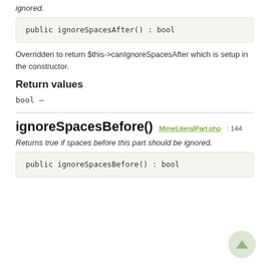ignored.
public ignoreSpacesAfter() : bool
Overridden to return $this->canIgnoreSpacesAfter which is setup in the constructor.
Return values
bool —
ignoreSpacesBefore()
MimeLiteralPart.php : 144
Returns true if spaces before this part should be ignored.
public ignoreSpacesBefore() : bool